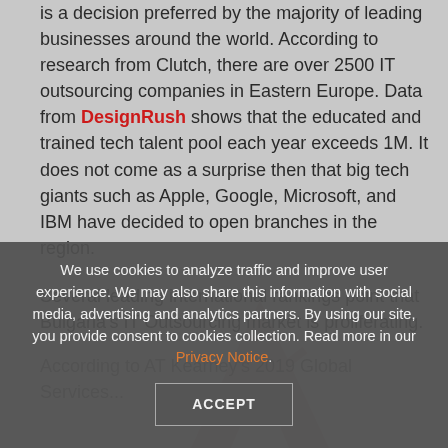is a decision preferred by the majority of leading businesses around the world. According to research from Clutch, there are over 2500 IT outsourcing companies in Eastern Europe. Data from DesignRush shows that the educated and trained tech talent pool each year exceeds 1M. It does not come as a surprise then that big tech giants such as Apple, Google, Microsoft, and IBM have decided to open branches in the region.
Several leading international rankings point that Bulgaria's IT Outsourcing market is proliferating.
According to AT Kearney's 2019 Global Services... [partially obscured]
We use cookies to analyze traffic and improve user experience. We may also share this information with social media, advertising and analytics partners. By using our site, you provide consent to cookies collection. Read more in our Privacy Notice.
ACCEPT